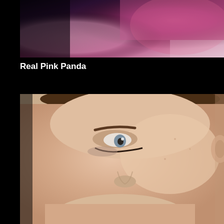[Figure (photo): Partial view of a person from above, showing colorful pink and purple fabric or clothing against a dark background]
Real Pink Panda
[Figure (photo): Close-up portrait photograph of a young woman with light skin, blue-grey eyes, brown hair pulled back, looking downward with her tongue touching her finger]